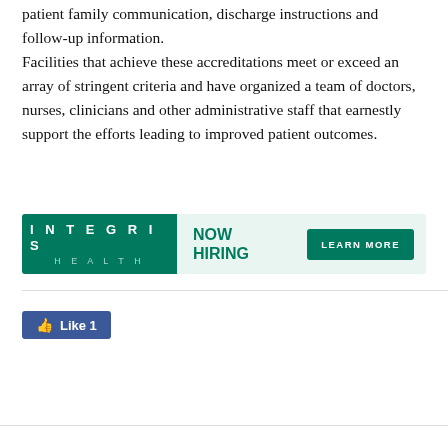patient family communication, discharge instructions and follow-up information. Facilities that achieve these accreditations meet or exceed an array of stringent criteria and have organized a team of doctors, nurses, clinicians and other administrative staff that earnestly support the efforts leading to improved patient outcomes.
[Figure (infographic): INTEGRIS Health advertisement banner with teal/green background. Left section: dark teal box with 'INTEGRIS' in white bold spaced letters and 'HEALTH' below in lighter teal spaced letters. Center: 'NOW HIRING' in bold teal text. Right: 'LEARN MORE' button in dark teal.]
[Figure (screenshot): Facebook Like button showing thumbs up icon and 'Like 1' in white text on blue background.]